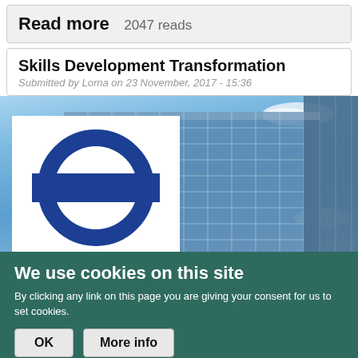Read more   2047 reads
Skills Development Transformation
Submitted by Lorna on 23 November, 2017 - 15:36
[Figure (photo): Glass modern office building against blue sky with white clouds, with a white overlay box containing the Transport for London (TfL) roundel logo (blue circle with horizontal blue bar through center)]
We use cookies on this site
By clicking any link on this page you are giving your consent for us to set cookies.
OK
More info